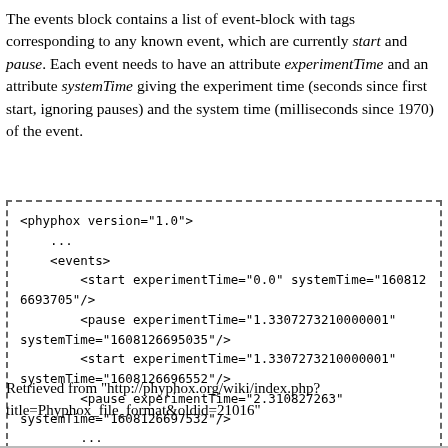The events block contains a list of event-block with tags corresponding to any known event, which are currently start and pause. Each event needs to have an attribute experimentTime and an attribute systemTime giving the experiment time (seconds since first start, ignoring pauses) and the system time (milliseconds since 1970) of the event.
<phyphox version="1.0">
    ...
    <events>
        <start experimentTime="0.0" systemTime="1608126693705"/>
        <pause experimentTime="1.3307273210000001"
systemTime="1608126695035"/>
        <start experimentTime="1.3307273210000001"
systemTime="1608126696552"/>
        <pause experimentTime="2.310827263"
systemTime="1608126697532"/>
        ...
    </events>
    ...
</phyphox>
Retrieved from "http://phyphox.org/wiki/index.php?title=Phyphox_file_format&oldid=21016"